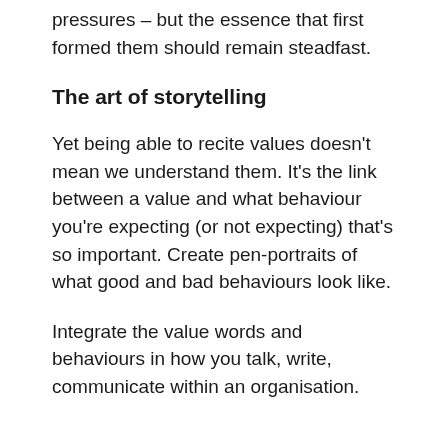pressures – but the essence that first formed them should remain steadfast.
The art of storytelling
Yet being able to recite values doesn't mean we understand them. It's the link between a value and what behaviour you're expecting (or not expecting) that's so important. Create pen-portraits of what good and bad behaviours look like.
Integrate the value words and behaviours in how you talk, write, communicate within an organisation.